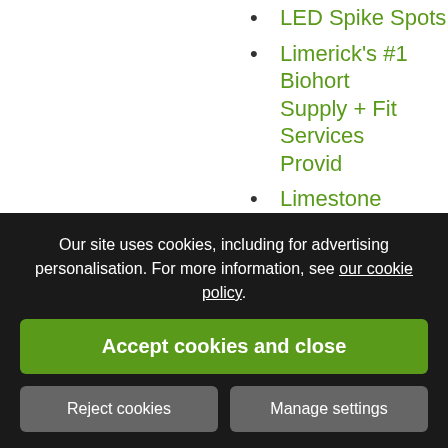LED Spike Spots
Limerick's #1 Biohort Supply + Fit Services Provid
Limestone Driveways Dublin
Limestone Paving & Patios
Low Miantenance Garden Design Ideas
Made to measure garden fencing
Maimaison Rose Pillar
Metal Garden Planter
Metal sheds & storage solutions
Our site uses cookies, including for advertising personalisation. For more information, see our cookie policy.
Accept cookies and close
Reject cookies
Manage settings